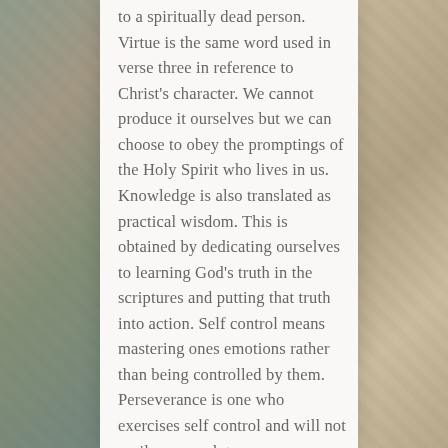to a spiritually dead person. Virtue is the same word used in verse three in reference to Christ's character. We cannot produce it ourselves but we can choose to obey the promptings of the Holy Spirit who lives in us. Knowledge is also translated as practical wisdom. This is obtained by dedicating ourselves to learning God's truth in the scriptures and putting that truth into action. Self control means mastering ones emotions rather than being controlled by them. Perseverance is one who exercises self control and will not easily succumb to discouragement or the